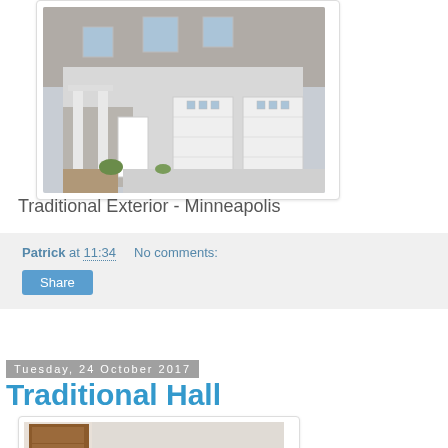[Figure (photo): Traditional exterior of a home in Minneapolis with white garage doors, stone facade, and covered porch. Suburban house with a wide driveway.]
Traditional Exterior - Minneapolis
Patrick at 11:34    No comments:
Share
Tuesday, 24 October 2017
Traditional Hall
[Figure (photo): Partial view of a traditional hall interior, showing a wooden door and entryway.]